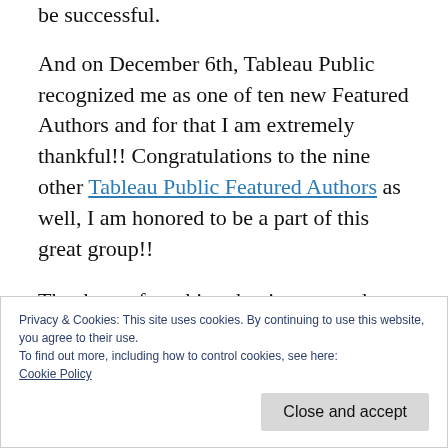be successful.
And on December 6th, Tableau Public recognized me as one of ten new Featured Authors and for that I am extremely thankful!! Congratulations to the nine other Tableau Public Featured Authors as well, I am honored to be a part of this great group!!
Thank you for taking the time to read, my hope is that you’re able to take some information
Privacy & Cookies: This site uses cookies. By continuing to use this website, you agree to their use.
To find out more, including how to control cookies, see here:
Cookie Policy
Close and accept